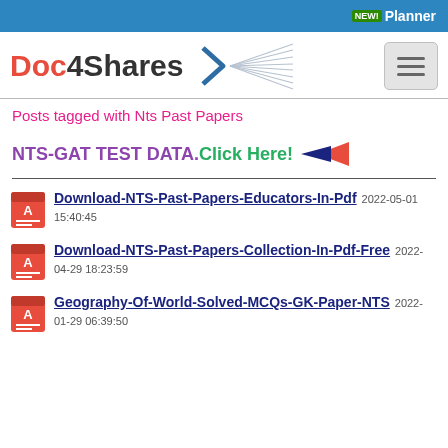NEW! Planner
[Figure (logo): Doc4Shares logo with stylized arrow/burst graphic and hamburger menu button]
Posts tagged with Nts Past Papers
NTS-GAT TEST DATA.Click Here!
Download-NTS-Past-Papers-Educators-In-Pdf 2022-05-01 15:40:45
Download-NTS-Past-Papers-Collection-In-Pdf-Free 2022-04-29 18:23:59
Geography-Of-World-Solved-MCQs-GK-Paper-NTS 2022-01-29 06:39:50